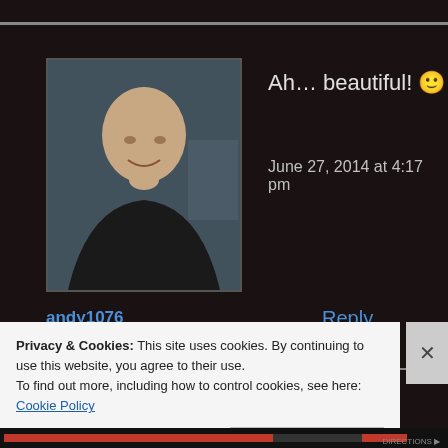[Figure (screenshot): User avatar photo of andy1076, a bald Asian man in a dark hoodie]
andy1076
Ah… beautiful! 🙂
June 27, 2014 at 4:17 pm
Reply
[Figure (illustration): Pink and white geometric quilt pattern avatar]
:)...thanks Andy!
June 27, 2014 at 4:27 pm
Privacy & Cookies: This site uses cookies. By continuing to use this website, you agree to their use.
To find out more, including how to control cookies, see here: Cookie Policy
Close and accept